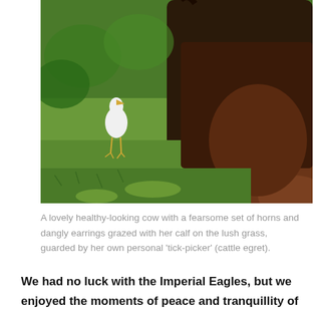[Figure (photo): A brown cow with large horns grazing on lush green grass, with a white cattle egret (tick-picker bird) standing nearby in the background.]
A lovely healthy-looking cow with a fearsome set of horns and dangly earrings grazed with her calf on the lush grass, guarded by her own personal 'tick-picker' (cattle egret).
We had no luck with the Imperial Eagles, but we enjoyed the moments of peace and tranquillity of our surroundings and while some of us were content to wander around and